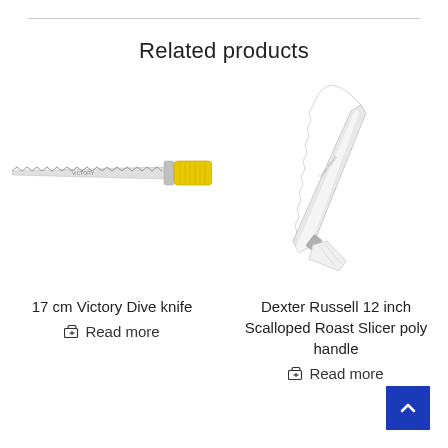Related products
[Figure (photo): 17 cm Victory Dive knife with serrated blade and yellow handle]
17 cm Victory Dive knife
🛒 Read more
[Figure (photo): Dexter Russell 12 inch Scalloped Roast Slicer with white poly handle, shown at diagonal angle]
Dexter Russell 12 inch Scalloped Roast Slicer poly handle
🛒 Read more